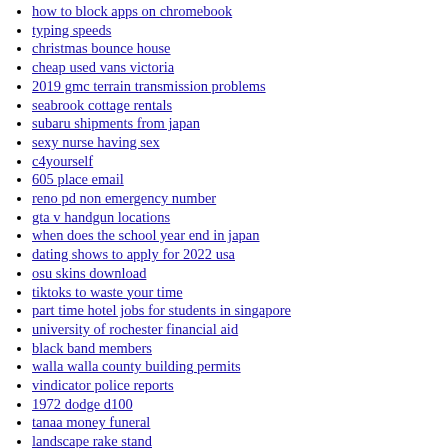how to block apps on chromebook
typing speeds
christmas bounce house
cheap used vans victoria
2019 gmc terrain transmission problems
seabrook cottage rentals
subaru shipments from japan
sexy nurse having sex
c4yourself
605 place email
reno pd non emergency number
gta v handgun locations
when does the school year end in japan
dating shows to apply for 2022 usa
osu skins download
tiktoks to waste your time
part time hotel jobs for students in singapore
university of rochester financial aid
black band members
walla walla county building permits
vindicator police reports
1972 dodge d100
tanaa money funeral
landscape rake stand
srg properties rentals